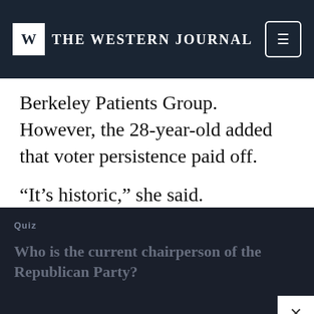THE WESTERN JOURNAL
Berkeley Patients Group. However, the 28-year-old added that voter persistence paid off.
“It’s historic,” she said.
Quiz
Who is the current chairperson of the Republican Party?